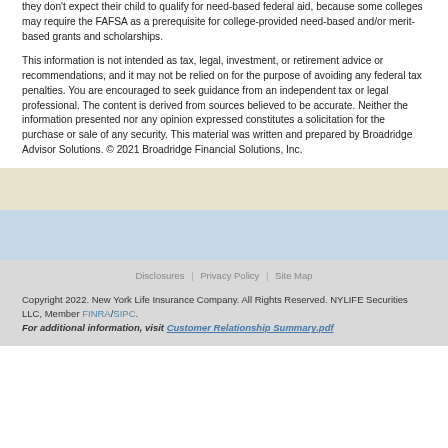they don't expect their child to qualify for need-based federal aid, because some colleges may require the FAFSA as a prerequisite for college-provided need-based and/or merit-based grants and scholarships.
This information is not intended as tax, legal, investment, or retirement advice or recommendations, and it may not be relied on for the purpose of avoiding any federal tax penalties. You are encouraged to seek guidance from an independent tax or legal professional. The content is derived from sources believed to be accurate. Neither the information presented nor any opinion expressed constitutes a solicitation for the purchase or sale of any security. This material was written and prepared by Broadridge Advisor Solutions. © 2021 Broadridge Financial Solutions, Inc.
Disclosures | Privacy Policy | Site Map
Copyright 2022. New York Life Insurance Company. All Rights Reserved. NYLIFE Securities LLC, Member FINRA/SIPC.
For additional information, visit Customer Relationship Summary.pdf